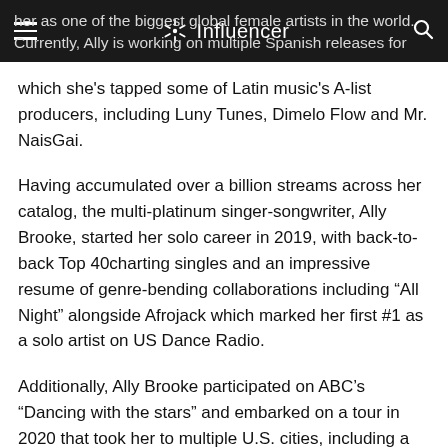Influencer
her as one of the biggest global female artists in the world. Currently, Ally is working on multiple Spanish releases for which she's tapped some of Latin music's A-list producers, including Luny Tunes, Dimelo Flow and Mr. NaisGai.
Having accumulated over a billion streams across her catalog, the multi-platinum singer-songwriter, Ally Brooke, started her solo career in 2019, with back-to-back Top 40charting singles and an impressive resume of genre-bending collaborations including “All Night” alongside Afrojack which marked her first #1 as a solo artist on US Dance Radio.
Additionally, Ally Brooke participated on ABC’s “Dancing with the stars” and embarked on a tour in 2020 that took her to multiple U.S. cities, including a sold-out show at New York’s Gramercy Theater. Last year, Ally Brooke released her book